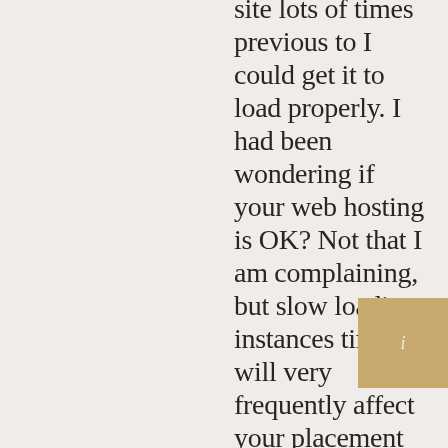site lots of times previous to I could get it to load properly. I had been wondering if your web hosting is OK? Not that I am complaining, but slow loading instances times will very frequently affect your placement in google and could damage your high-quality
[Figure (other): Small gold/tan square box with the letter 'i' in italic, positioned at the bottom right of the page]